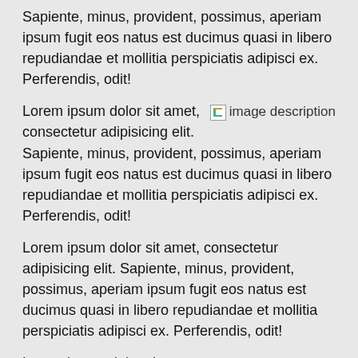Sapiente, minus, provident, possimus, aperiam ipsum fugit eos natus est ducimus quasi in libero repudiandae et mollitia perspiciatis adipisci ex. Perferendis, odit!
Lorem ipsum dolor sit amet, consectetur adipisicing elit. Sapiente, minus, provident, possimus, aperiam ipsum fugit eos natus est ducimus quasi in libero repudiandae et mollitia perspiciatis adipisci ex. Perferendis, odit!
[Figure (illustration): Broken image placeholder with text 'image description' displayed inline top-right]
Lorem ipsum dolor sit amet, consectetur adipisicing elit. Sapiente, minus, provident, possimus, aperiam ipsum fugit eos natus est ducimus quasi in libero repudiandae et mollitia perspiciatis adipisci ex. Perferendis, odit!
Lorem ipsum dolor sit amet, consectetur adipisicing elit. Sapiente, minus, provident, possimus, aperiam ipsum fugit eos natus est ducimus quasi in libero repudiandae et mollitia perspiciatis adipisci ex. Perferendis, odit!
[Figure (illustration): Broken image placeholder with text 'image description']
Lorem ipsum dolor sit amet, consectetur adipisicing elit. Sapiente, minus, provident, possimus, aperiam ipsum